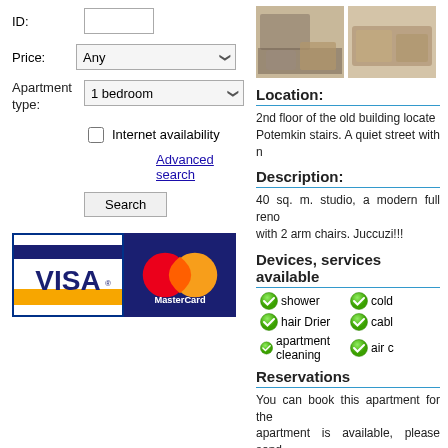ID:
Price: Any
Apartment type: 1 bedroom
Internet availability
Advanced search
Search
[Figure (logo): VISA and MasterCard payment logos]
[Figure (photo): Interior apartment photos showing sofa/chairs]
Location:
2nd floor of the old building locate... Potemkin stairs. A quiet street with n...
Description:
40 sq. m. studio, a modern full reno... with 2 arm chairs. Juccuzi!!!
Devices, services available
shower
cold
hair Drier
cabl
apartment cleaning
air c
Reservations
You can book this apartment for the... apartment is available, please send ...